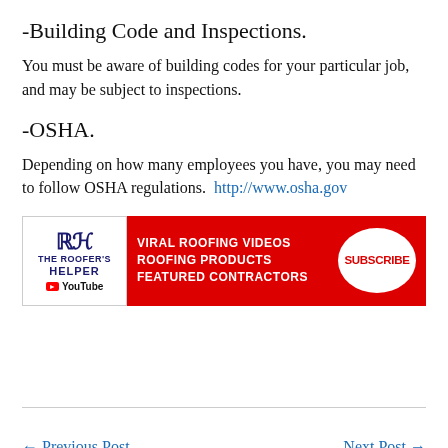-Building Code and Inspections.
You must be aware of building codes for your particular job, and may be subject to inspections.
-OSHA.
Depending on how many employees you have, you may need to follow OSHA regulations.  http://www.osha.gov
[Figure (infographic): The Roofer's Helper YouTube channel banner with red Subscribe button. Left side shows logo with RH icon and YouTube branding. Right side is red background with white text: VIRAL ROOFING VIDEOS, ROOFING PRODUCTS, FEATURED CONTRACTORS, and a white oval with red SUBSCRIBE text.]
← Previous Post   Next Post →